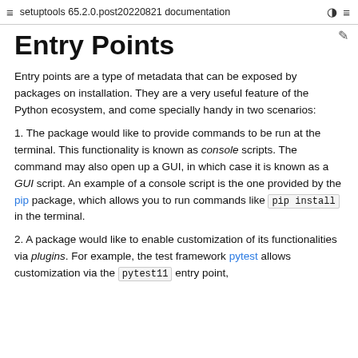setuptools 65.2.0.post20220821 documentation
Entry Points
Entry points are a type of metadata that can be exposed by packages on installation. They are a very useful feature of the Python ecosystem, and come specially handy in two scenarios:
1. The package would like to provide commands to be run at the terminal. This functionality is known as console scripts. The command may also open up a GUI, in which case it is known as a GUI script. An example of a console script is the one provided by the pip package, which allows you to run commands like pip install in the terminal.
2. A package would like to enable customization of its functionalities via plugins. For example, the test framework pytest allows customization via the pytest11 entry point,